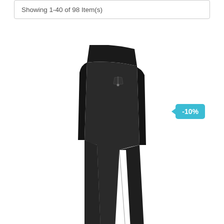Showing 1-40 of 98 Item(s)
[Figure (photo): Black athletic/sport pants displayed on a plain white background, showing a slim-fit design with a wide waistband, small front zip pocket, and slightly flared leg openings. A discount badge showing -10% is overlaid in the top right area.]